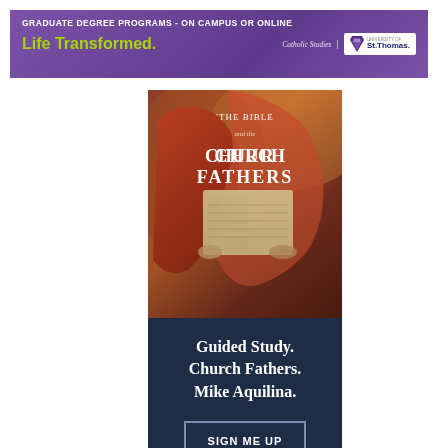[Figure (advertisement): University of St. Thomas Catholic Studies graduate degree programs banner ad. Purple background. Text: 'GRADUATE DEGREE PROGRAMS - ON CAMPUS OR ONLINE', 'Life Transformed.' in green/yellow, with Catholic Studies and University of St. Thomas logo.]
[Figure (advertisement): Book advertisement for 'The Bible and the Church Fathers' by Mike Aquilina. Shows book cover with painting of figures reading, dark navy panel below with text 'Guided Study. Church Fathers. Mike Aquilina.' and a 'SIGN ME UP' button, plus description text about a 12-part video series.]